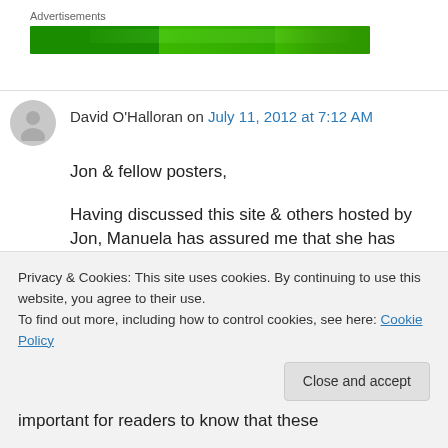Advertisements
[Figure (other): Green advertisement banner image]
David O'Halloran on July 11, 2012 at 7:12 AM
Jon & fellow posters,
Having discussed this site & others hosted by Jon, Manuela has assured me that she has
Privacy & Cookies: This site uses cookies. By continuing to use this website, you agree to their use.
To find out more, including how to control cookies, see here: Cookie Policy
Close and accept
important for readers to know that these